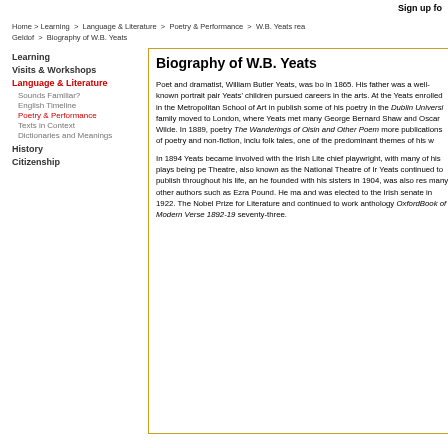Sign up fo
Home > Learning > Language & Literature > Poetry & Performance > W.B. Yeats rea Geldof > Biography of W.B. Yeats
Learning
Visits & Workshops
Language & Literature
Sounds Familiar?
English Timeline
Poetry & Performance
Texts in Context
Dictionaries and Meanings
History
Citizenship
Biography of W.B. Yeats
Poet and dramatist, William Butler Yeats, was born in 1865. His father was a well-known portrait painter and Yeats' children pursued careers in the arts. At the age Yeats enrolled in the Metropolitan School of Art in Dublin and began to publish some of his poetry in the Dublin University Review. His family moved to London, where Yeats met many notable writers such as George Bernard Shaw and Oscar Wilde. In 1889, he published a book of poetry The Wanderings of Oisin and Other Poems followed by many more publications of poetry and non-fiction, including collections of Irish folk tales, one of the predominant themes of his work.
In 1894 Yeats became involved with the Irish Literary Theatre as its chief playwright, with many of his plays being performed at the Abbey Theatre, also known as the National Theatre of Ireland. Yeats continued to publish throughout his life, and the Cuala Press, which he founded with his sisters in 1904, was also responsible for publishing many other authors such as Ezra Pound. He married Georgie Hyde-Lees and was elected to the Irish senate in 1922. The following year he won the Nobel Prize for Literature and continued to work and write, editing the anthology OxfordBook of Modern Verse 1892-1935, and died at the age of seventy-three.